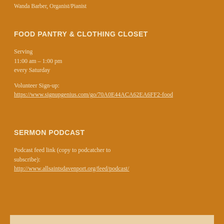Wanda Barber, Organist/Pianist
FOOD PANTRY & CLOTHING CLOSET
Serving
11:00 am – 1:00 pm
every Saturday

Volunteer Sign-up:
https://www.signupgenius.com/go/70A0E44ACA62EA6FF2-food
SERMON PODCAST
Podcast feed link (copy to podcatcher to subscribe):
http://www.allsaintsdavenport.org/feed/podcast/